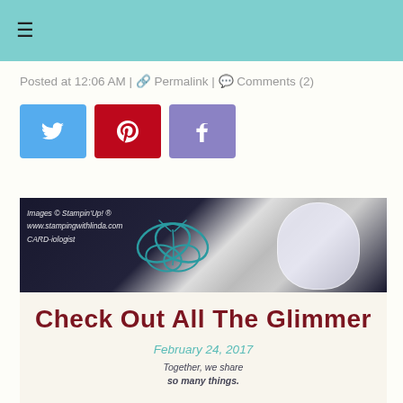≡
Posted at 12:06 AM | 🔗 Permalink | 💬 Comments (2)
[Figure (infographic): Three social share buttons: Twitter (blue bird icon), Pinterest (red P icon), Facebook (purple/blue f icon)]
[Figure (photo): Handmade greeting card with glimmer/shimmer paper, butterfly stamp in teal ink, pearl embellishments, embossed white panel on dark navy background. Watermark reads: Images © Stampin'Up! ® www.stampingwithlinda.com CARD-iologist]
Check Out All The Glimmer
February 24, 2017
Together, we share so many things.